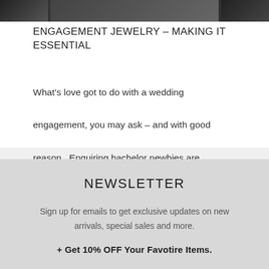[Figure (photo): Partial image strip at the top showing cropped photos of people, appearing to be jewelry or fashion related images]
ENGAGEMENT JEWELRY – MAKING IT ESSENTIAL
What's love got to do with a wedding engagement, you may ask – and with good reason.  Enquiring bachelor newbies are ...
NEWSLETTER
Sign up for emails to get exclusive updates on new arrivals, special sales and more.
+ Get 10% OFF Your Favotire Items.